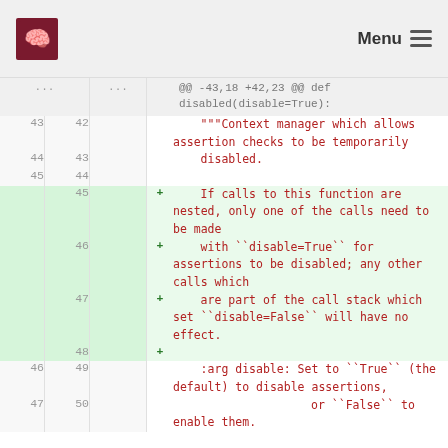Menu
[Figure (screenshot): Code diff view showing changes to a Python docstring in a function called disabled(disable=True). Added lines (green background) show new documentation text about nested calls behavior with disable=True and disable=False parameters. Line numbers shown on left and right sides.]